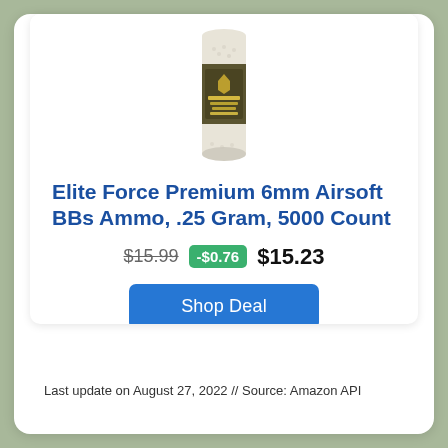[Figure (photo): Product image of Elite Force 6mm airsoft BBs tube container with green/tan label showing 5000 count]
Elite Force Premium 6mm Airsoft BBs Ammo, .25 Gram, 5000 Count
$15.99  -$0.76  $15.23
Shop Deal
Last update on August 27, 2022 // Source: Amazon API